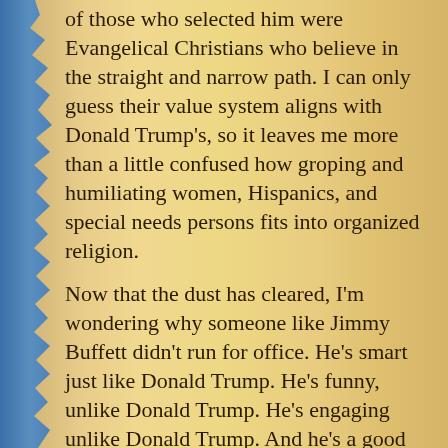of those who selected him were Evangelical Christians who believe in the straight and narrow path. I can only guess their value system aligns with Donald Trump's, so it leaves me more than a little confused how groping and humiliating women, Hispanics, and special needs persons fits into organized religion.
Now that the dust has cleared, I'm wondering why someone like Jimmy Buffett didn't run for office. He's smart just like Donald Trump. He's funny, unlike Donald Trump. He's engaging unlike Donald Trump. And he's a good businessman just like Donald Trump. Look at how he's packed his concerts city after city over the years. Margaritaville restaurants and stores which grew systemically from his songs are thriving. Even though the music poohbahs who give out awards have largely neglected his achievements, his loyal parrothead fans now include their children and their children's children.
Because Jimmy's trademark is pirates and parrots, I